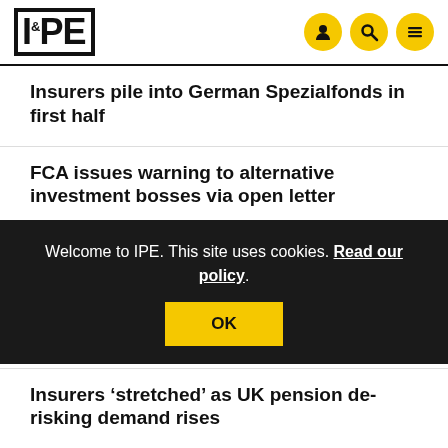IPE
Insurers pile into German Spezialfonds in first half
FCA issues warning to alternative investment bosses via open letter
Welcome to IPE. This site uses cookies. Read our policy. OK
Insurers ‘stretched’ as UK pension de-risking demand rises